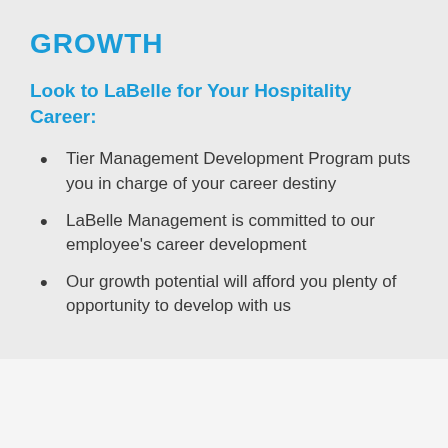GROWTH
Look to LaBelle for Your Hospitality Career:
Tier Management Development Program puts you in charge of your career destiny
LaBelle Management is committed to our employee's career development
Our growth potential will afford you plenty of opportunity to develop with us